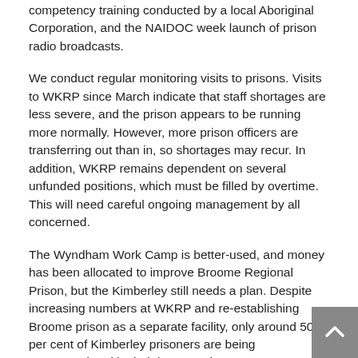competency training conducted by a local Aboriginal Corporation, and the NAIDOC week launch of prison radio broadcasts.
We conduct regular monitoring visits to prisons. Visits to WKRP since March indicate that staff shortages are less severe, and the prison appears to be running more normally. However, more prison officers are transferring out than in, so shortages may recur. In addition, WKRP remains dependent on several unfunded positions, which must be filled by overtime. This will need careful ongoing management by all concerned.
The Wyndham Work Camp is better-used, and money has been allocated to improve Broome Regional Prison, but the Kimberley still needs a plan. Despite increasing numbers at WKRP and re-establishing Broome prison as a separate facility, only around 50 per cent of Kimberley prisoners are being accommodated in their home region.
Those from the East Kimberley have been especially disadvantaged. In 2005, this office and the Kimberley Aboriginal Reference Group recommended the